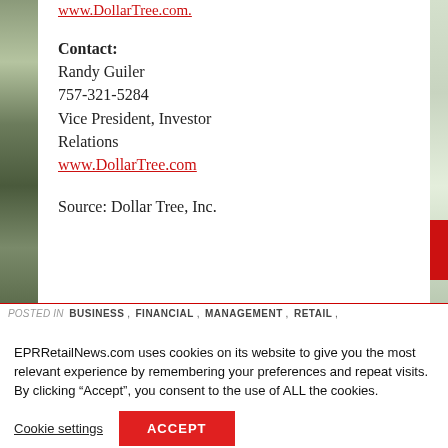www.DollarTree.com.
Contact:
Randy Guiler
757-321-5284
Vice President, Investor Relations
www.DollarTree.com
Source: Dollar Tree, Inc.
POSTED IN  BUSINESS ,  FINANCIAL ,  MANAGEMENT ,  RETAIL ,
EPRRetailNews.com uses cookies on its website to give you the most relevant experience by remembering your preferences and repeat visits. By clicking “Accept”, you consent to the use of ALL the cookies.
Cookie settings
ACCEPT